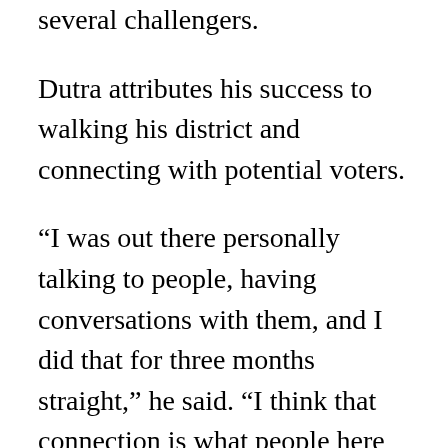several challengers.
Dutra attributes his success to walking his district and connecting with potential voters.
“I was out there personally talking to people, having conversations with them, and I did that for three months straight,” he said. “I think that connection is what people here